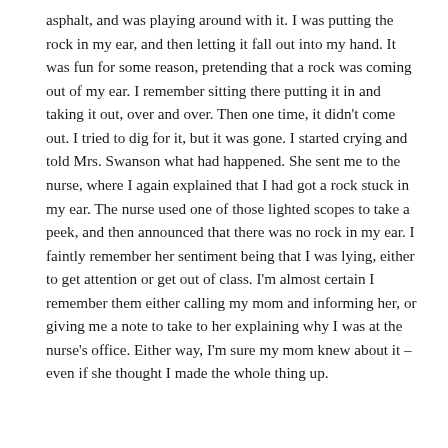asphalt, and was playing around with it. I was putting the rock in my ear, and then letting it fall out into my hand. It was fun for some reason, pretending that a rock was coming out of my ear. I remember sitting there putting it in and taking it out, over and over. Then one time, it didn't come out. I tried to dig for it, but it was gone. I started crying and told Mrs. Swanson what had happened. She sent me to the nurse, where I again explained that I had got a rock stuck in my ear. The nurse used one of those lighted scopes to take a peek, and then announced that there was no rock in my ear. I faintly remember her sentiment being that I was lying, either to get attention or get out of class. I'm almost certain I remember them either calling my mom and informing her, or giving me a note to take to her explaining why I was at the nurse's office. Either way, I'm sure my mom knew about it – even if she thought I made the whole thing up.